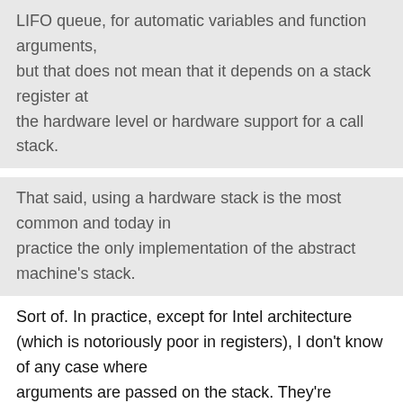LIFO queue, for automatic variables and function arguments, but that does not mean that it depends on a stack register at the hardware level or hardware support for a call stack.
That said, using a hardware stack is the most common and today in practice the only implementation of the abstract machine's stack.
Sort of. In practice, except for Intel architecture (which is notoriously poor in registers), I don't know of any case where arguments are passed on the stack. They're passed in registers. On a modern Sun Sparc (v9 or later), those registers are